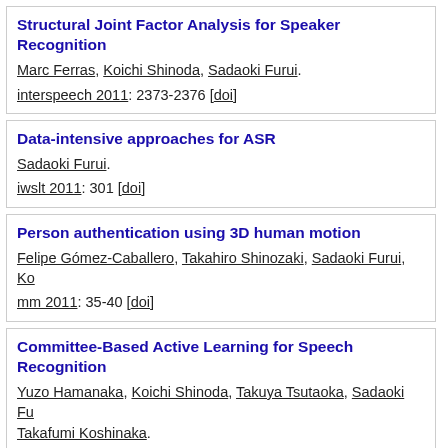Structural Joint Factor Analysis for Speaker Recognition. Marc Ferras, Koichi Shinoda, Sadaoki Furui. interspeech 2011: 2373-2376 [doi]
Data-intensive approaches for ASR. Sadaoki Furui. iwslt 2011: 301 [doi]
Person authentication using 3D human motion. Felipe Gómez-Caballero, Takahiro Shinozaki, Sadaoki Furui, Ko mm 2011: 35-40 [doi]
Committee-Based Active Learning for Speech Recognition. Yuzo Hamanaka, Koichi Shinoda, Takuya Tsutaoka, Sadaoki Fu Takafumi Koshinaka. ieicet, 94-D(10):2015-2023, 2011. [doi]
Designing text corpus using phone-error distribution for ac